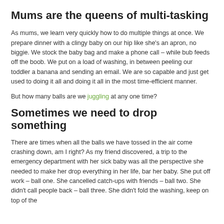Mums are the queens of multi-tasking
As mums, we learn very quickly how to do multiple things at once. We prepare dinner with a clingy baby on our hip like she’s an apron, no biggie. We stock the baby bag and make a phone call – while bub feeds off the boob. We put on a load of washing, in between peeling our toddler a banana and sending an email. We are so capable and just get used to doing it all and doing it all in the most time-efficient manner.
But how many balls are we juggling at any one time?
Sometimes we need to drop something
There are times when all the balls we have tossed in the air come crashing down, am I right? As my friend discovered, a trip to the emergency department with her sick baby was all the perspective she needed to make her drop everything in her life, bar her baby. She put off work – ball one. She cancelled catch-ups with friends – ball two. She didn’t call people back – ball three. She didn’t fold the washing, keep on top of the